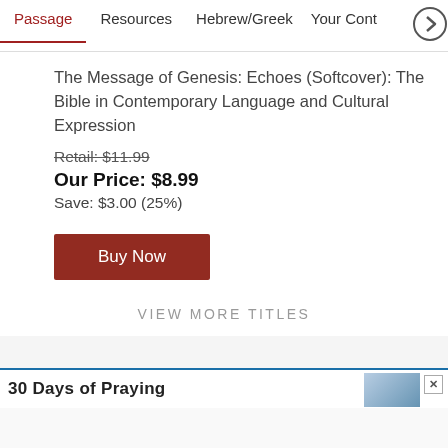Passage | Resources | Hebrew/Greek | Your Cont >
The Message of Genesis: Echoes (Softcover): The Bible in Contemporary Language and Cultural Expression
Retail: $11.99
Our Price: $8.99
Save: $3.00 (25%)
Buy Now
VIEW MORE TITLES
[Figure (screenshot): Bottom advertisement banner with text '30 Days of Praying' and a blue image thumbnail with an X close button]